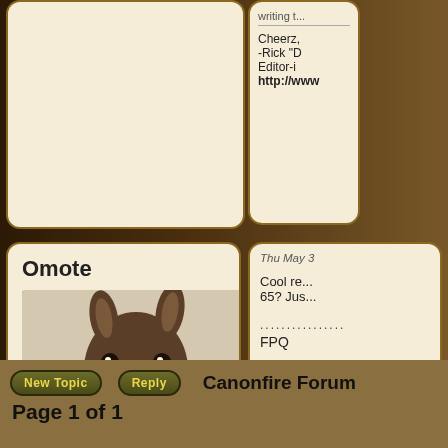Cheerz,
-Rick "D"
Editor-i
http://www
Thu May 3
Cool re... 65? Jus...
............
FPQ
Prince C
Omote
[Figure (photo): Profile avatar: a donkey/mule with mouth open, facing camera, brown fur, against white background]
Apprentice Greytalker
Joined: Aug 06, 2003
Posts: 119
From: The FAIRest VIEW in the PARK
Send private message
New Topic   Reply   Canonfire Forum
Page 1 of 1